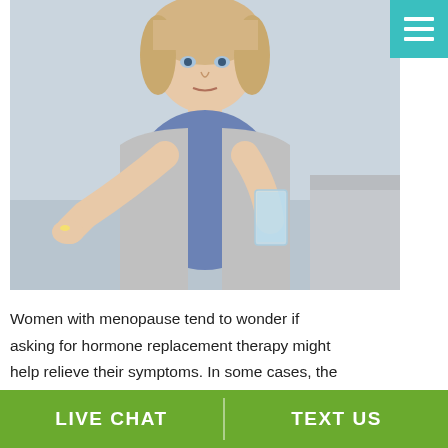[Figure (photo): Middle-aged blonde woman holding a glass of water and a pill, looking at the camera, seated on a light-colored sofa, wearing a grey cardigan over a blue top]
Women with menopause tend to wonder if asking for hormone replacement therapy might help relieve their symptoms. In some cases, the doctor might recommend it to soften menopausal issues that are interfering with their lives. While taking hormones can dampen some of those hard to handle side
LIVE CHAT   TEXT US